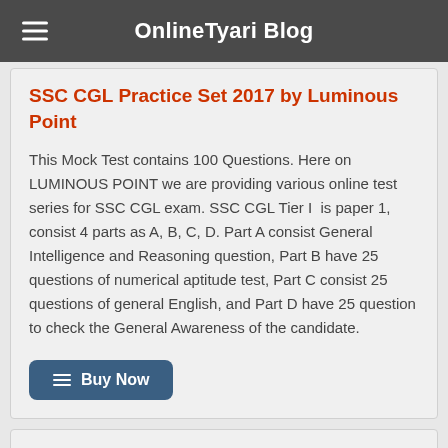OnlineTyari Blog
SSC CGL Practice Set 2017 by Luminous Point
This Mock Test contains 100 Questions. Here on LUMINOUS POINT we are providing various online test series for SSC CGL exam. SSC CGL Tier I  is paper 1, consist 4 parts as A, B, C, D. Part A consist General Intelligence and Reasoning question, Part B have 25 questions of numerical aptitude test, Part C consist 25 questions of general English, and Part D have 25 question to check the General Awareness of the candidate.